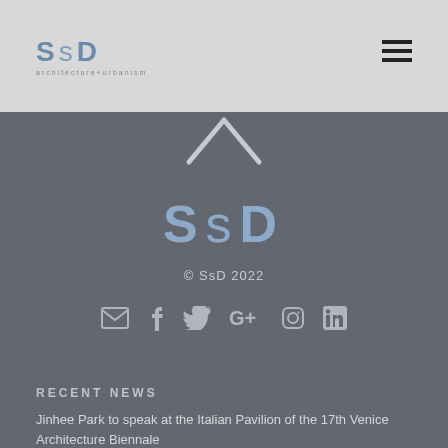SsD architecture+urbanism
[Figure (logo): SsD logo in blue-grey letters with 'architecture+urbanism' subtitle below]
[Figure (illustration): Upward-pointing chevron/caret arrow in white on dark grey background]
[Figure (logo): Large SsD logo in steel blue on dark grey background]
© SsD 2022
[Figure (infographic): Row of social media icons: email, Facebook, Twitter, Google+, Instagram, LinkedIn]
RECENT NEWS
Jinhee Park to speak at the Italian Pavilion of the 17th Venice Architecture Biennale